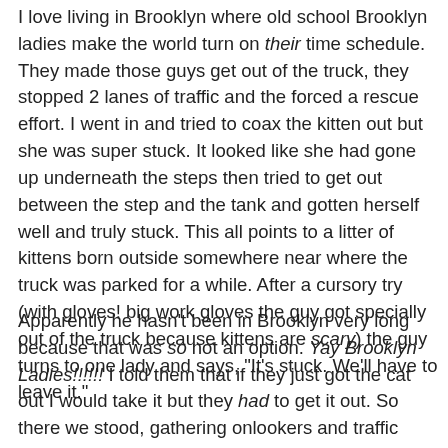I love living in Brooklyn where old school Brooklyn ladies make the world turn on their time schedule. They made those guys get out of the truck, they stopped 2 lanes of traffic and the forced a rescue effort. I went in and tried to coax the kitten out but she was super stuck. It looked like she had gone up underneath the steps then tried to get out between the step and the tank and gotten herself well and truly stuck. This all points to a litter of kittens born outside somewhere near where the truck was parked for a while. After a cursory try (with gloves! big work gloves the guy got specially out of the truck because kittens are scary) the guy turns to one lady and says, "It's stuck. We'll have to leave it."
Apparently he hasn't been in Brooklyn very long because that was so not an option. Yay Brooklyn Ladies!!!!!! I told them that if they just got the cat out I would take it but they had to get it out. So there we stood, gathering onlookers and traffic cops and a certain amount of panicked bile in my throat while the guys tried to figure out the problem. Finally they were able to pull the tank away from the step enough for the kitten to make a break for the 4 lanes of rush hour traffic. Its possible that I strained something screaming for